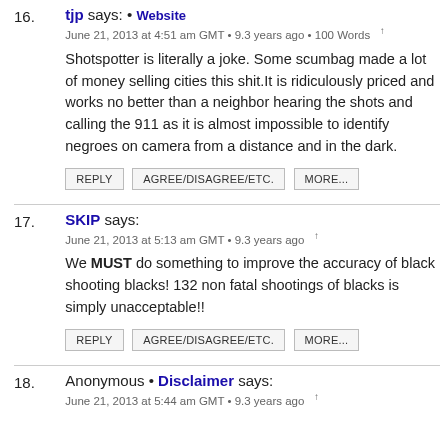16. tjp says: • Website
June 21, 2013 at 4:51 am GMT • 9.3 years ago • 100 Words ↑
Shotspotter is literally a joke. Some scumbag made a lot of money selling cities this shit.It is ridiculously priced and works no better than a neighbor hearing the shots and calling the 911 as it is almost impossible to identify negroes on camera from a distance and in the dark.
REPLY | AGREE/DISAGREE/ETC. | MORE...
17. SKIP says:
June 21, 2013 at 5:13 am GMT • 9.3 years ago ↑
We MUST do something to improve the accuracy of black shooting blacks! 132 non fatal shootings of blacks is simply unacceptable!!
REPLY | AGREE/DISAGREE/ETC. | MORE...
18. Anonymous • Disclaimer says:
June 21, 2013 at 5:44 am GMT • 9.3 years ago ↑